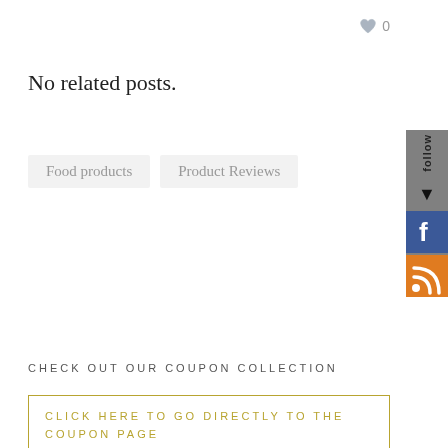0
No related posts.
Food products
Product Reviews
CHECK OUT OUR COUPON COLLECTION
CLICK HERE TO GO DIRECTLY TO THE COUPON PAGE